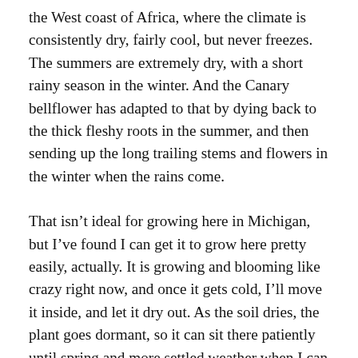the West coast of Africa, where the climate is consistently dry, fairly cool, but never freezes. The summers are extremely dry, with a short rainy season in the winter. And the Canary bellflower has adapted to that by dying back to the thick fleshy roots in the summer, and then sending up the long trailing stems and flowers in the winter when the rains come.
That isn't ideal for growing here in Michigan, but I've found I can get it to grow here pretty easily, actually. It is growing and blooming like crazy right now, and once it gets cold, I'll move it inside, and let it dry out. As the soil dries, the plant goes dormant, so it can sit there patiently until spring and more settled weather when I can water and set it off into growth again. It works, and though it is a bit more work than most of the other plants I grow, it is worth it. I like looking at the lovely flowers, and